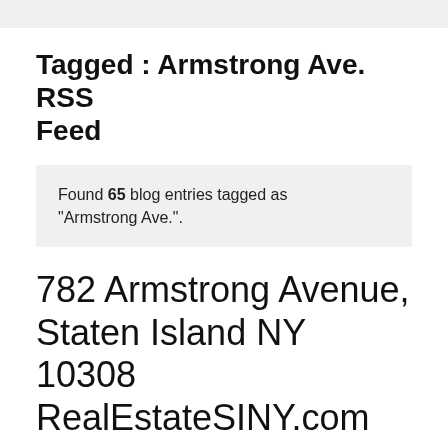Tagged : Armstrong Ave. RSS Feed
Found 65 blog entries tagged as "Armstrong Ave.".
782 Armstrong Avenue, Staten Island NY 10308 RealEstateSINY.com
Friday, January 20th, 2012 at 12:48pm.